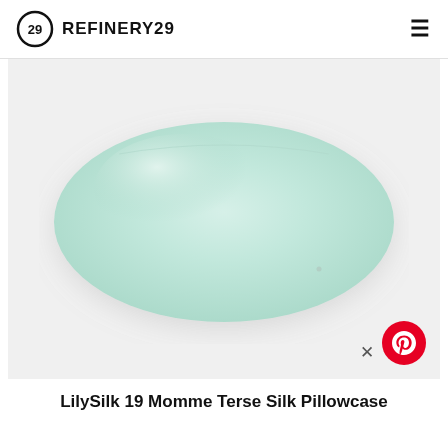REFINERY29
[Figure (photo): A mint/light green satin silk pillowcase photographed on a white background, rectangular shape with subtle sheen and shadow effects.]
LilySilk 19 Momme Terse Silk Pillowcase